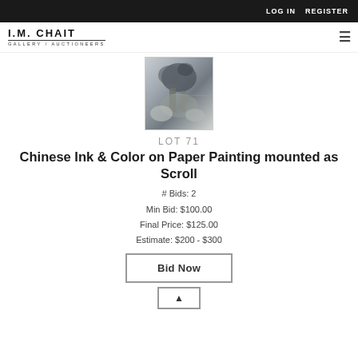LOG IN   REGISTER
I.M. CHAIT GALLERY / AUCTIONEERS
[Figure (photo): Partial view of a Chinese ink and color painting on paper showing a landscape with trees and rocks in traditional ink wash style.]
LOT 71
Chinese Ink & Color on Paper Painting mounted as Scroll
# Bids: 2
Min Bid: $100.00
Final Price: $125.00
Estimate: $200 - $300
Bid Now